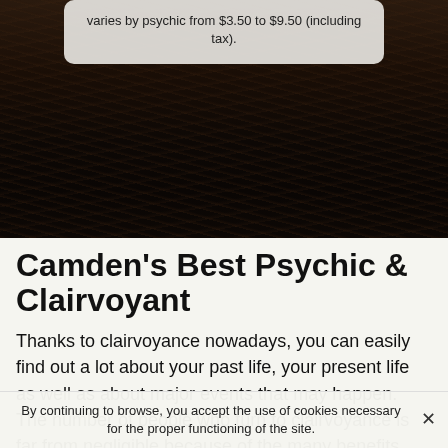[Figure (photo): Dark background image showing hands or fabric in very low light, brownish-black tones]
varies by psychic from $3.50 to $9.50 (including tax).
Camden's Best Psychic & Clairvoyant
Thanks to clairvoyance nowadays, you can easily find out a lot about your past life, your present life as well as about major events that may happen. The number of people who turn to clairvoyance is far from negligible because of the many benefits that can be found there. Unfortunately, there is a problem. It is not always easy to find the ideal psychic,
By continuing to browse, you accept the use of cookies necessary for the proper functioning of the site.